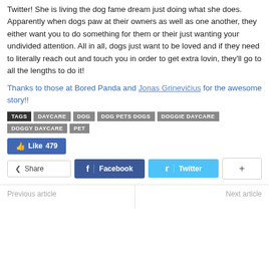Twitter! She is living the dog fame dream just doing what she does. Apparently when dogs paw at their owners as well as one another, they either want you to do something for them or their just wanting your undivided attention. All in all, dogs just want to be loved and if they need to literally reach out and touch you in order to get extra lovin, they'll go to all the lengths to do it!
Thanks to those at Bored Panda and Jonas Grinevičius for the awesome story!!
TAGS  DAYCARE  DOG  DOG PETS DOGS  DOGGIE DAYCARE  DOGGY DAYCARE  PET
Like 479
Share  Facebook  Twitter  +
Previous article   Next article